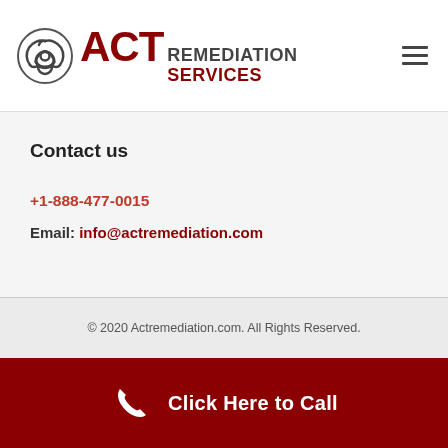ACT REMEDIATION SERVICES
Contact us
+1-888-477-0015
Email: info@actremediation.com
© 2020 Actremediation.com. All Rights Reserved.
Click Here to Call